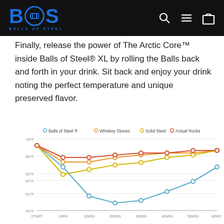BALLS OF STEEL - Website header with logo and navigation icons
Finally, release the power of The Arctic Core™ inside Balls of Steel® XL by rolling the Balls back and forth in your drink. Sit back and enjoy your drink noting the perfect temperature and unique preserved flavor.
[Figure (line-chart): ]